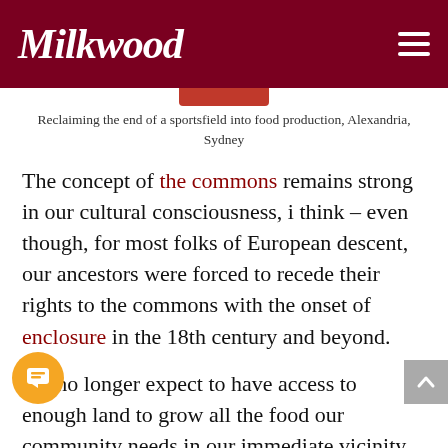Milkwood
Reclaiming the end of a sportsfield into food production, Alexandria, Sydney
The concept of the commons remains strong in our cultural consciousness, i think – even though, for most folks of European descent, our ancestors were forced to recede their rights to the commons with the onset of enclosure in the 18th century and beyond.
We no longer expect to have access to enough land to grow all the food our community needs in our immediate vicinity. We would like a little piece, if we can, but it's not something we demand as a community. Not yet.
…days we seem to have focused on other aspects of our common wealth which should never be allowed to be